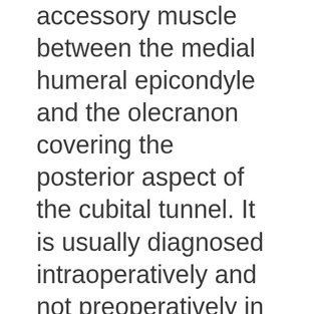accessory muscle between the medial humeral epicondyle and the olecranon covering the posterior aspect of the cubital tunnel. It is usually diagnosed intraoperatively and not preoperatively in the absence of no imaging studies. The clinical presentation of ulnar neuropathy caused by the AE usually differs from idiopathic